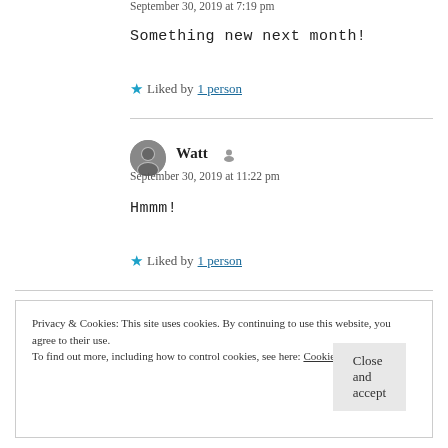September 30, 2019 at 7:19 pm
Something new next month!
★ Liked by 1 person
Watt
September 30, 2019 at 11:22 pm
Hmmm!
★ Liked by 1 person
Privacy & Cookies: This site uses cookies. By continuing to use this website, you agree to their use. To find out more, including how to control cookies, see here: Cookie Policy